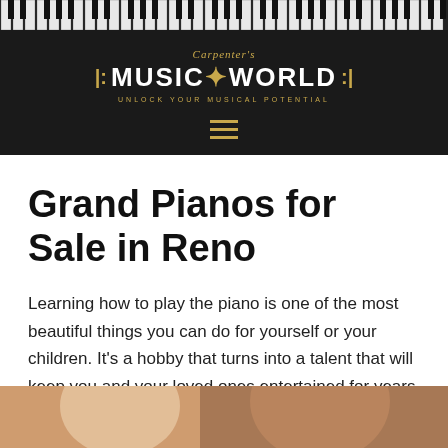[Figure (logo): Carpenter's Music World logo with piano keys strip at top, gold and white text on dark background, tagline 'Unlock Your Musical Potential', and hamburger menu icon]
Grand Pianos for Sale in Reno
Learning how to play the piano is one of the most beautiful things you can do for yourself or your children. It's a hobby that turns into a talent that will keep you and your loved ones entertained for years to come.
[Figure (photo): Partial photo of people at bottom of page, appears to show two people]